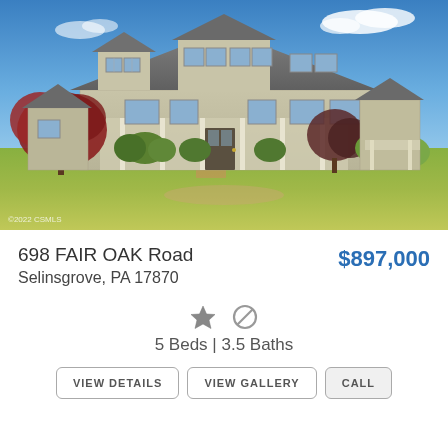[Figure (photo): Exterior photo of a two-story colonial home with gray/beige siding, front porch with white columns, brick walkway, lush green lawn, and ornamental trees with reddish foliage under a blue sky with clouds.]
698 FAIR OAK Road
$897,000
Selinsgrove, PA 17870
5 Beds | 3.5 Baths
VIEW DETAILS
VIEW GALLERY
CALL